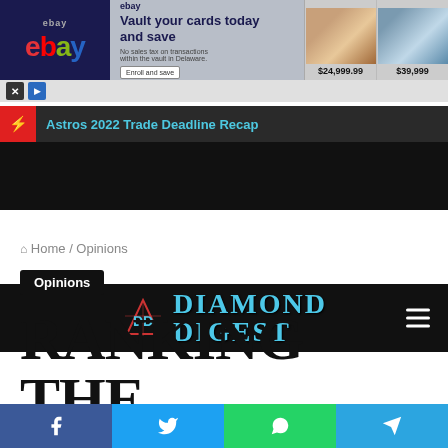[Figure (screenshot): eBay advertisement banner showing 'Vault your cards today and save' with two graded sports/trading cards priced at $24,999.99 and $39,999]
Diamond Digest
⚡ Astros 2022 Trade Deadline Recap
Home / Opinions
Opinions
RANKING THE